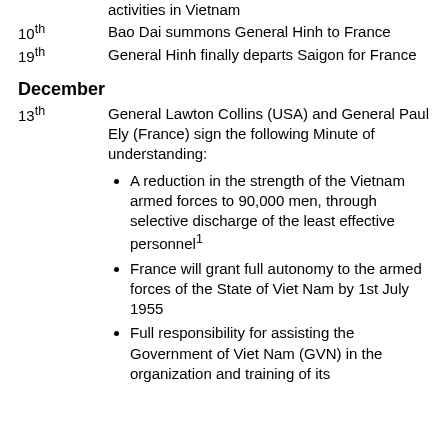activities in Vietnam
10th — Bao Dai summons General Hinh to France
19th — General Hinh finally departs Saigon for France
December
13th — General Lawton Collins (USA) and General Paul Ely (France) sign the following Minute of understanding:
A reduction in the strength of the Vietnam armed forces to 90,000 men, through selective discharge of the least effective personnel¹
France will grant full autonomy to the armed forces of the State of Viet Nam by 1st July 1955
Full responsibility for assisting the Government of Viet Nam (GVN) in the organization and training of its